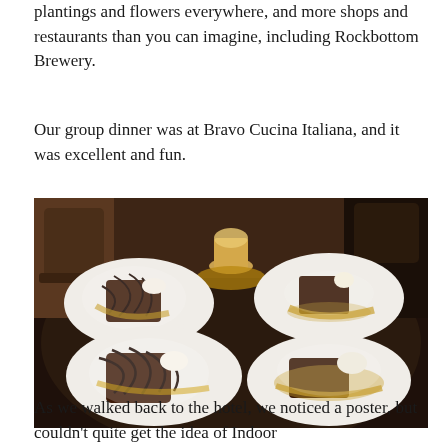plantings and flowers everywhere, and more shops and restaurants than you can imagine, including Rockbottom Brewery.
Our group dinner was at Bravo Cucina Italiana, and it was excellent and fun.
[Figure (photo): Photo of four dessert plates on a dark restaurant table at Bravo Cucina Italiana, each plate containing chocolate lava cake or brownie-style dessert with caramel sauce, powdered sugar, and whipped cream or ice cream.]
As we walked back to the hotel, we noticed a poster, but couldn't quite get the idea of Indoor